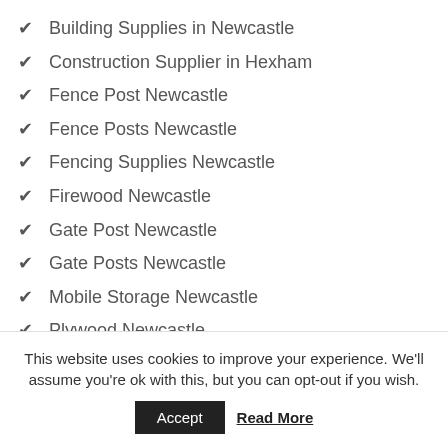Building Supplies in Newcastle
Construction Supplier in Hexham
Fence Post Newcastle
Fence Posts Newcastle
Fencing Supplies Newcastle
Firewood Newcastle
Gate Post Newcastle
Gate Posts Newcastle
Mobile Storage Newcastle
Plywood Newcastle
Plywood Tyne and Wear
This website uses cookies to improve your experience. We'll assume you're ok with this, but you can opt-out if you wish.
Accept  Read More